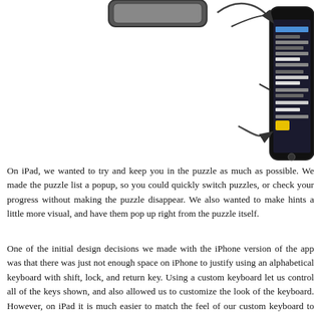[Figure (screenshot): Partial view of an iPad/device interface at top left with a rounded rectangle button shape, and an iPhone showing a quiz/puzzle app interface on the right side, connected by curved arrows indicating navigation flow.]
On iPad, we wanted to try and keep you in the puzzle as much as possible. We made the puzzle list a popup, so you could quickly switch puzzles, or check your progress without making the puzzle disappear. We also wanted to make hints a little more visual, and have them pop up right from the puzzle itself.
One of the initial design decisions we made with the iPhone version of the app was that there was just not enough space on iPhone to justify using an alphabetical keyboard with shift, lock, and return key. Using a custom keyboard let us control all of the keys shown, and also allowed us to customize the look of the keyboard. However, on iPad it is much easier to match the feel of our custom keyboard to iPhone's built-in one, and it's possible that a custom keyboard might not be necessary. The built-in keyboard leaves a lot of extra room to show the puzzle, and if the user hooks up a bluetooth keyboard...